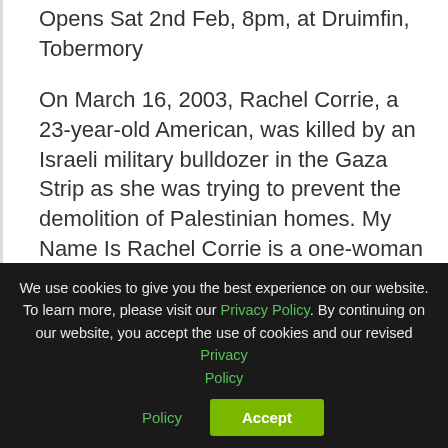Opens Sat 2nd Feb, 8pm, at Druimfin, Tobermory
On March 16, 2003, Rachel Corrie, a 23-year-old American, was killed by an Israeli military bulldozer in the Gaza Strip as she was trying to prevent the demolition of Palestinian homes. My Name Is Rachel Corrie is a one-woman play composed from Rachel’s own journals, letters and emails – creating a portrait of a messy, skinny, articulate, Salvador Dali-loving chain smoker who left her home in Olympia
We use cookies to give you the best experience on our website. To learn more, please visit our Privacy Policy. By continuing on our website, you accept the use of cookies and our revised Privacy Policy
Accept